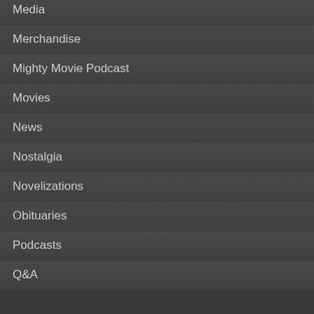Media
Merchandise
Mighty Movie Podcast
Movies
News
Nostalgia
Novelizations
Obituaries
Podcasts
Q&A